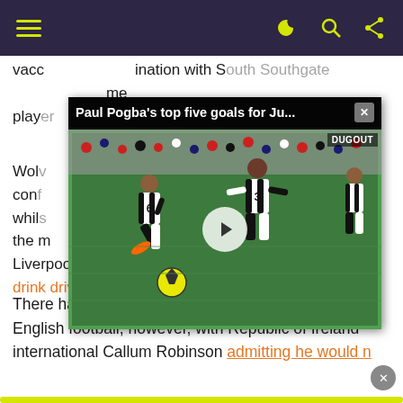Navigation header with hamburger menu and icons
vaccination with South Southgate over the same player in the series.
[Figure (screenshot): Embedded video overlay showing Paul Pogba's top five goals for Juventus, with soccer players in black and white striped jerseys on a green pitch, play button visible, DUGOUT watermark, close button.]
Wolves confirmed, whilst the matter, the Liverpool boss saying that anti-vaxxers are akin to drink drivers.
There has been hesitancy from some names within English football, however, with Republic of Ireland international Callum Robinson admitting he would n